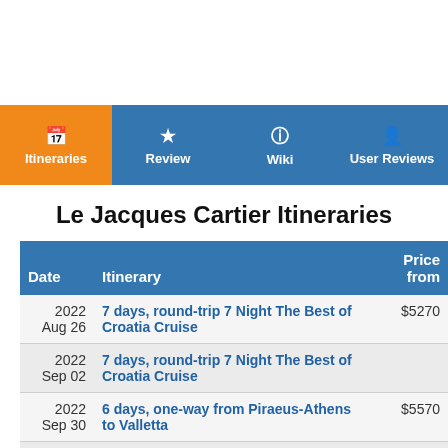[Figure (other): Navigation tab bar with four tabs: Itineraries (active, orange), Review, Wiki, User Reviews (all on blue background)]
Le Jacques Cartier Itineraries
| Date | Itinerary | Price from |
| --- | --- | --- |
| 2022 Aug 26 | 7 days, round-trip 7 Night The Best of Croatia Cruise | $5270 |
| 2022 Sep 02 | 7 days, round-trip 7 Night The Best of Croatia Cruise |  |
| 2022 Sep 30 | 6 days, one-way from Piraeus-Athens to Valletta | $5570 |
| 2022 Oct | 7 days, one-way from Valletta to Villefranche- | $4750 |